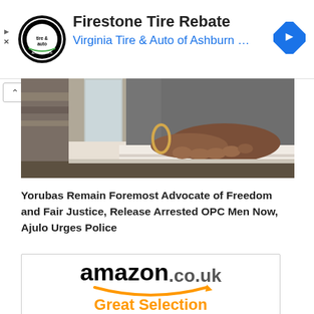[Figure (other): Advertisement banner for Firestone Tire Rebate at Virginia Tire & Auto of Ashburn. Contains a circular tire & auto logo on the left, text in center, and a blue navigation arrow diamond on the right. Play and X icons on far left.]
[Figure (photo): Photo showing a dark-skinned person's hand wearing a gold bracelet, resting on papers/documents on a table. A glass of water is visible in the background. The person is wearing a grey blazer.]
Yorubas Remain Foremost Advocate of Freedom and Fair Justice, Release Arrested OPC Men Now, Ajulo Urges Police
[Figure (logo): Amazon.co.uk advertisement showing the amazon.co.uk logo with the orange arrow smile, and text 'Great Selection' in orange below it. Partially cropped at the bottom.]